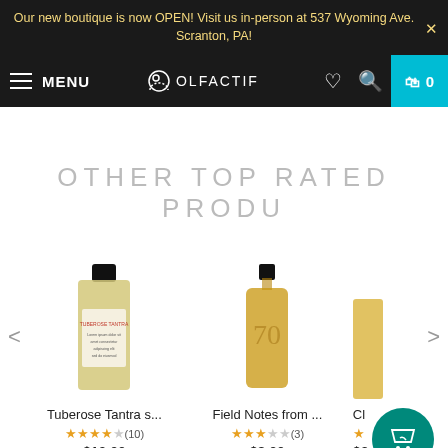Our new boutique is now OPEN! Visit us in-person at 537 Wyoming Ave. Scranton, PA!
MENU | OLFACTIF | 0
OTHER TOP RATED PRODU
[Figure (screenshot): Product carousel with two visible perfume bottles and one partial. Left arrow and right arrow navigation. Products: Tuberose Tantra s... rated 4.5/5 (10) at $10.00; Field Notes from ... rated 3.5/5 (3) at $8.00; Cl (partial product) at $3. Floating teal cart/wishlist button in bottom right corner.]